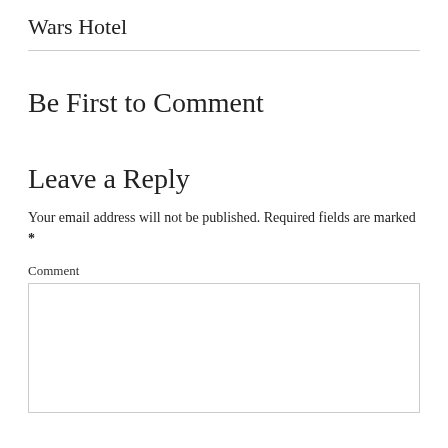Wars Hotel
Be First to Comment
Leave a Reply
Your email address will not be published. Required fields are marked *
Comment